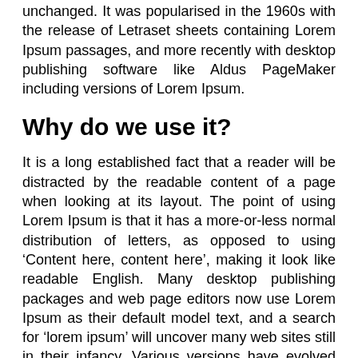unchanged. It was popularised in the 1960s with the release of Letraset sheets containing Lorem Ipsum passages, and more recently with desktop publishing software like Aldus PageMaker including versions of Lorem Ipsum.
Why do we use it?
It is a long established fact that a reader will be distracted by the readable content of a page when looking at its layout. The point of using Lorem Ipsum is that it has a more-or-less normal distribution of letters, as opposed to using ‘Content here, content here’, making it look like readable English. Many desktop publishing packages and web page editors now use Lorem Ipsum as their default model text, and a search for ‘lorem ipsum’ will uncover many web sites still in their infancy. Various versions have evolved over the years, sometimes by accident, sometimes on purpose (injected humour